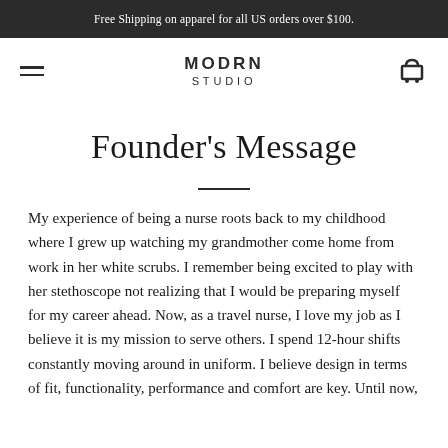Free Shipping on apparel for all US orders over $100.
[Figure (logo): MODRN STUDIO brand logo with hamburger menu icon on the left and shopping cart icon on the right]
Founder's Message
My experience of being a nurse roots back to my childhood where I grew up watching my grandmother come home from work in her white scrubs. I remember being excited to play with her stethoscope not realizing that I would be preparing myself for my career ahead. Now, as a travel nurse, I love my job as I believe it is my mission to serve others. I spend 12-hour shifts constantly moving around in uniform. I believe design in terms of fit, functionality, performance and comfort are key. Until now,